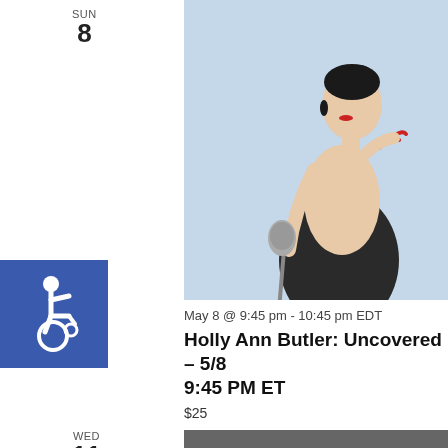SUN
8
[Figure (photo): Woman in black dress singing into vintage microphone against light blue background]
[Figure (illustration): Blue square with wheelchair accessibility icon]
May 8 @ 9:45 pm - 10:45 pm EDT
Holly Ann Butler: Uncovered – 5/8 9:45 PM ET
$25
WED
11
[Figure (photo): Black and white portrait of a bald man with city buildings in background]
May 11 @ 9:45 pm - 10:45 pm EDT